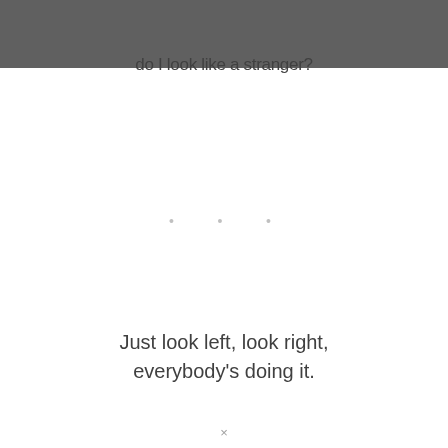do I look like a stranger?
• • •
Just look left, look right, everybody's doing it.
×